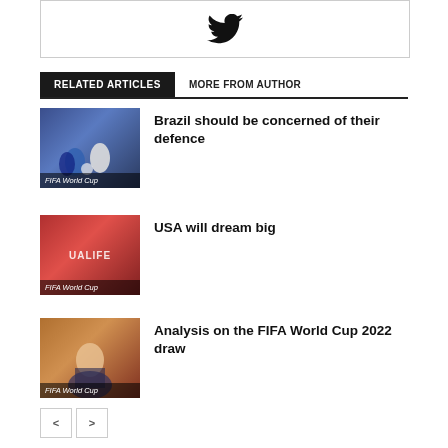[Figure (logo): Twitter bird icon in a bordered box]
RELATED ARTICLES | MORE FROM AUTHOR
[Figure (photo): Soccer players in action on field - FIFA World Cup]
Brazil should be concerned of their defence
[Figure (photo): Crowd with QUALIFIED banner - FIFA World Cup]
USA will dream big
[Figure (photo): Man smiling holding something - FIFA World Cup]
Analysis on the FIFA World Cup 2022 draw